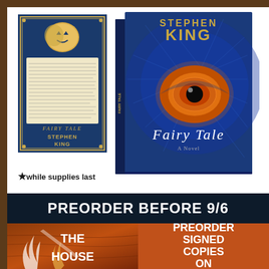[Figure (illustration): Two book covers of 'Fairy Tale' by Stephen King: left is a flat paperback cover with blue ornate border and parchment text page, right is a 3D hardcover showing large eye on blue textured background with 'Stephen King' and 'Fairy Tale' text]
★while supplies last
PREORDER BEFORE 9/6
[Figure (photo): Fiery orange-brown background with white stylized flame/feather designs and the text 'THE HOUSE' in large white bold letters]
PREORDER SIGNED COPIES ON